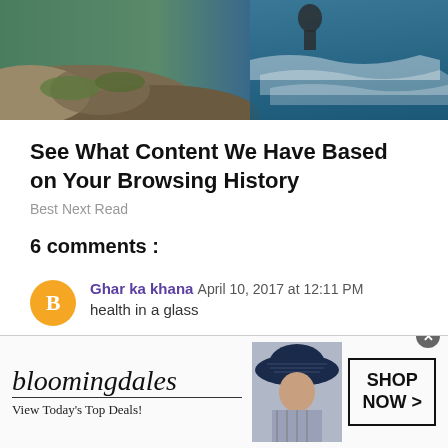[Figure (photo): Aerial or wide shot of rocky coastal cliffs with ocean waves and mossy rocks]
See What Content We Have Based on Your Browsing History
Best Next Read
6 comments :
Ghar ka khana  April 10, 2017 at 12:11 PM
health in a glass
[Figure (screenshot): Bloomingdale's advertisement banner: 'View Today's Top Deals!' with SHOP NOW > button and woman in hat]